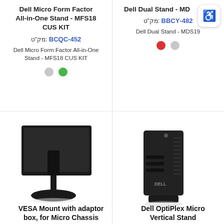Dell Micro Form Factor All-in-One Stand - MFS18 CUS KIT
מק״ט: 452-BCQC
Dell Micro Form Factor All-in-One Stand - MFS18 CUS KIT
Dell Dual Stand - MDS19
מק״ט: 482-BBCY
Dell Dual Stand - MDS19
[Figure (photo): Dell Micro Form Factor All-in-One Stand product photo - rear view of monitor on stand]
[Figure (photo): Dell OptiPlex Micro Vertical Stand product photo]
VESA Mount with adaptor box, for Micro Chassis
Dell OptiPlex Micro Vertical Stand